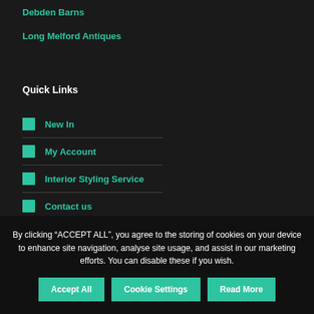Debden Barns
Long Melford Antiques
Quick Links
New In
My Account
Interior Styling Service
Contact us
By clicking “ACCEPT ALL”, you agree to the storing of cookies on your device to enhance site navigation, analyse site usage, and assist in our marketing efforts. You can disable these if you wish.
Accept All | Cookie Settings | Read More